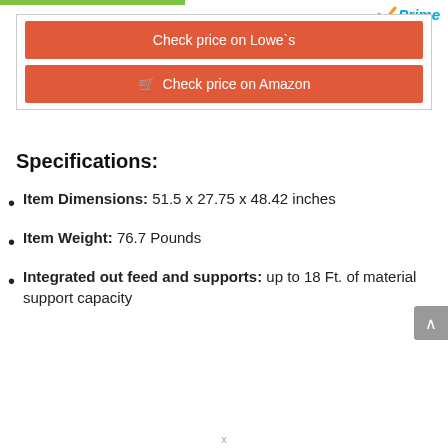[Figure (logo): Amazon Prime logo with checkmark and blue italic Prime text]
Check price on Lowe`s
Check price on Amazon
Specifications:
Item Dimensions: 51.5 x 27.75 x 48.42 inches
Item Weight: 76.7 Pounds
Integrated out feed and supports: up to 18 Ft. of material support capacity